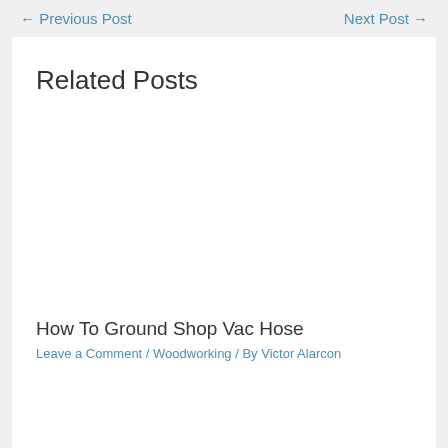← Previous Post    Next Post →
Related Posts
[Figure (photo): Empty white image placeholder for a related post]
How To Ground Shop Vac Hose
Leave a Comment / Woodworking / By Victor Alarcon